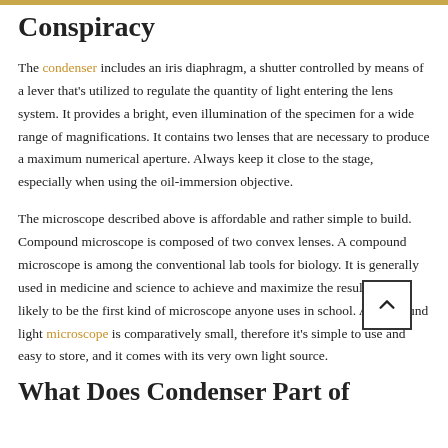Conspiracy
The condenser includes an iris diaphragm, a shutter controlled by means of a lever that's utilized to regulate the quantity of light entering the lens system. It provides a bright, even illumination of the specimen for a wide range of magnifications. It contains two lenses that are necessary to produce a maximum numerical aperture. Always keep it close to the stage, especially when using the oil-immersion objective.
The microscope described above is affordable and rather simple to build. Compound microscope is composed of two convex lenses. A compound microscope is among the conventional lab tools for biology. It is generally used in medicine and science to achieve and maximize the results. It is likely to be the first kind of microscope anyone uses in school. A compound light microscope is comparatively small, therefore it's simple to use and easy to store, and it comes with its very own light source.
What Does Condenser Part of